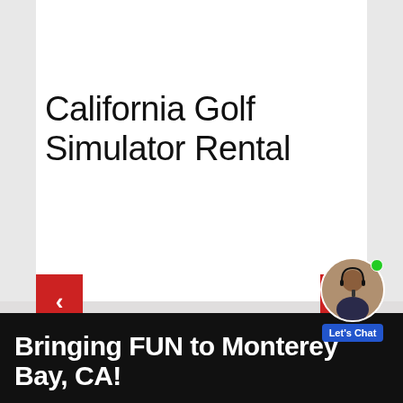[Figure (photo): Golf simulator setup with green turf mat, black netting surround, and projection screen showing a golf course]
California Golf Simulator Rental
View All Rentals >
Bringing FUN to Monterey Bay, CA!